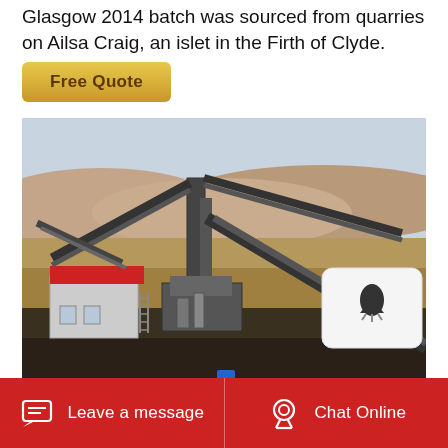Glasgow 2014 batch was sourced from quarries on Ailsa Craig, an islet in the Firth of Clyde.
Free Quote
[Figure (photo): Aerial view of a mining or quarrying facility with conveyor belts, a red-roofed building, and heavy industrial equipment in an arid landscape.]
Leave a message   Chat Online